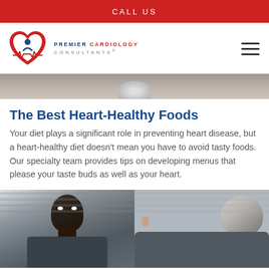CALL US
[Figure (logo): Premier Cardiology Consultants logo with heart and EKG line icon, plus navigation hamburger menu]
[Figure (photo): Partial hero image strip showing a plate or medical device on a wooden surface]
The Best Heart-Healthy Foods
Your diet plays a significant role in preventing heart disease, but a heart-healthy diet doesn't mean you have to avoid tasty foods. Our specialty team provides tips on developing menus that please your taste buds as well as your heart.
[Figure (photo): Two people in a medical consultation setting — a Black male patient and an older male doctor seen from behind]